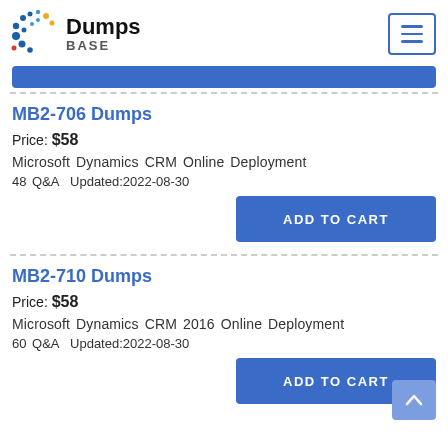DumpsBase
MB2-706 Dumps
Price: $58
Microsoft Dynamics CRM Online Deployment
48 Q&A  Updated:2022-08-30
ADD TO CART
MB2-710 Dumps
Price: $58
Microsoft Dynamics CRM 2016 Online Deployment
60 Q&A  Updated:2022-08-30
ADD TO CART